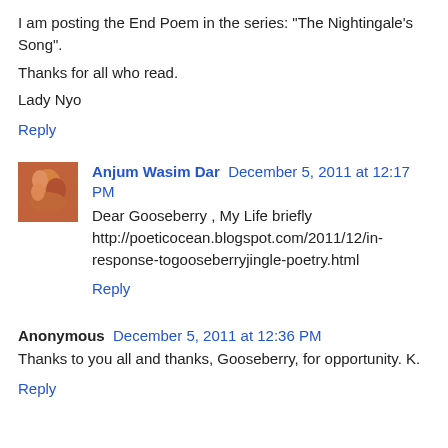I am posting the End Poem in the series: "The Nightingale's Song".
Thanks for all who read.
Lady Nyo
Reply
Anjum Wasim Dar  December 5, 2011 at 12:17 PM
Dear Gooseberry , My Life briefly http://poeticocean.blogspot.com/2011/12/in-response-togooseberryjingle-poetry.html
Reply
Anonymous  December 5, 2011 at 12:36 PM
Thanks to you all and thanks, Gooseberry, for opportunity. K.
Reply